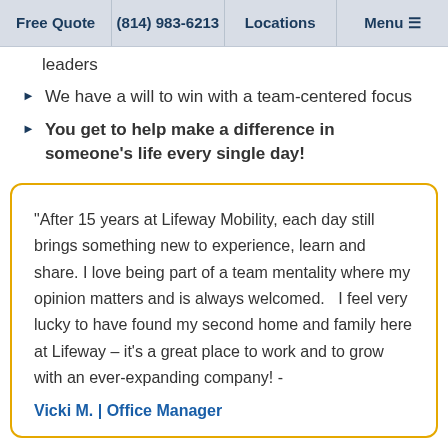Free Quote | (814) 983-6213 | Locations | Menu
leaders
We have a will to win with a team-centered focus
You get to help make a difference in someone's life every single day!
"After 15 years at Lifeway Mobility, each day still brings something new to experience, learn and share. I love being part of a team mentality where my opinion matters and is always welcomed.   I feel very lucky to have found my second home and family here at Lifeway – it's a great place to work and to grow with an ever-expanding company! - Vicki M. | Office Manager